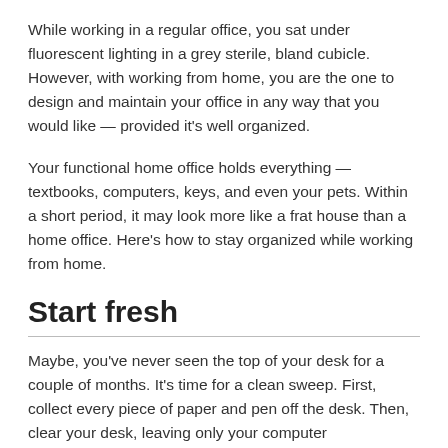While working in a regular office, you sat under fluorescent lighting in a grey sterile, bland cubicle. However, with working from home, you are the one to design and maintain your office in any way that you would like — provided it's well organized.
Your functional home office holds everything — textbooks, computers, keys, and even your pets. Within a short period, it may look more like a frat house than a home office. Here's how to stay organized while working from home.
Start fresh
Maybe, you've never seen the top of your desk for a couple of months. It's time for a clean sweep. First, collect every piece of paper and pen off the desk. Then, clear your desk, leaving only your computer